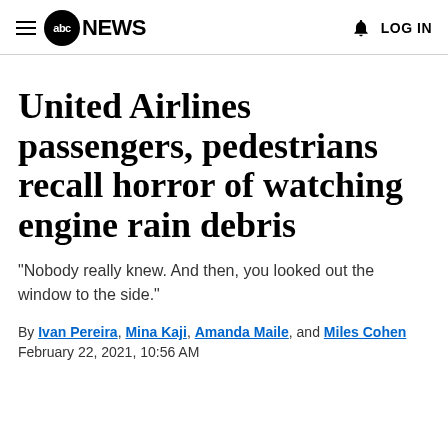abc NEWS  LOG IN
United Airlines passengers, pedestrians recall horror of watching engine rain debris
"Nobody really knew. And then, you looked out the window to the side."
By Ivan Pereira, Mina Kaji, Amanda Maile, and Miles Cohen
February 22, 2021, 10:56 AM